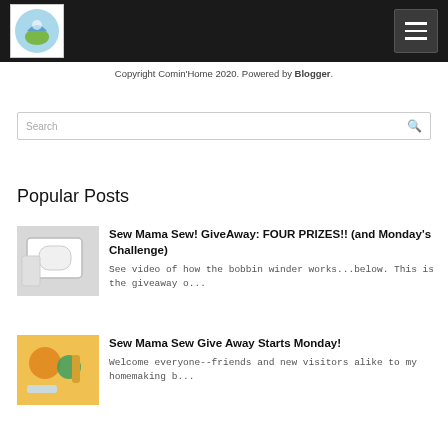Comin'Home — navigation header with logo and menu button
Copyright Comin'Home 2020. Powered by Blogger.
Search
Popular Posts
Sew Mama Sew! GiveAway: FOUR PRIZES!! (and Monday's Challenge)
See video of how the bobbin winder works...below. This is the giveaway o...
Sew Mama Sew Give Away Starts Monday!
Welcome everyone--friends and new visitors alike to my homemaking b...